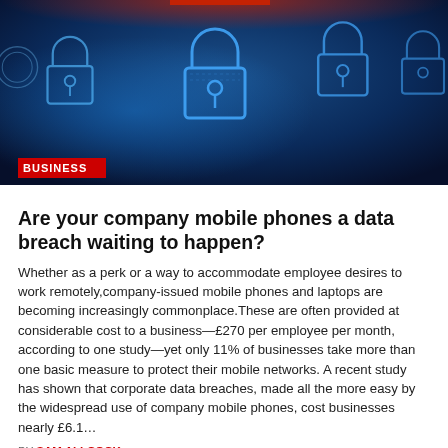[Figure (photo): Hero banner image showing glowing blue digital padlocks on a dark blue background with a red accent at top, representing cybersecurity. A red 'BUSINESS' label tag is overlaid at bottom left.]
Are your company mobile phones a data breach waiting to happen?
Whether as a perk or a way to accommodate employee desires to work remotely,company-issued mobile phones and laptops are becoming increasingly commonplace.These are often provided at considerable cost to a business—£270 per employee per month, according to one study—yet only 11% of businesses take more than one basic measure to protect their mobile networks. A recent study has shown that corporate data breaches, made all the more easy by the widespread use of company mobile phones, cost businesses nearly £6.1…
BY SAM ALLCOCK
[Figure (photo): Partial second article image, faded/light, showing a crowd or map scene in muted tones.]